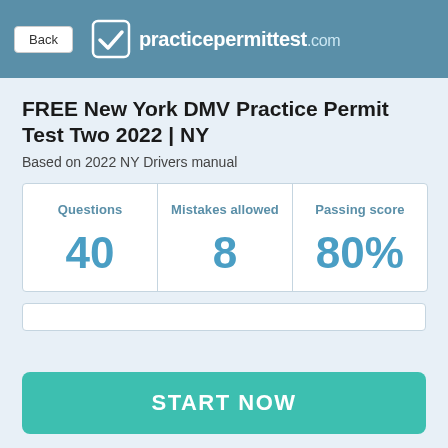practicepermittest.com
FREE New York DMV Practice Permit Test Two 2022 | NY
Based on 2022 NY Drivers manual
| Questions | Mistakes allowed | Passing score |
| --- | --- | --- |
| 40 | 8 | 80% |
START NOW